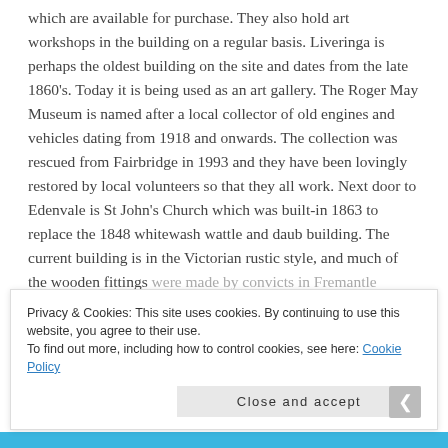which are available for purchase. They also hold art workshops in the building on a regular basis. Liveringa is perhaps the oldest building on the site and dates from the late 1860's. Today it is being used as an art gallery. The Roger May Museum is named after a local collector of old engines and vehicles dating from 1918 and onwards. The collection was rescued from Fairbridge in 1993 and they have been lovingly restored by local volunteers so that they all work. Next door to Edenvale is St John's Church which was built-in 1863 to replace the 1848 whitewash wattle and daub building. The current building is in the Victorian rustic style, and much of the wooden fittings were made by convicts in Fremantle Prison. Close by is
Privacy & Cookies: This site uses cookies. By continuing to use this website, you agree to their use.
To find out more, including how to control cookies, see here: Cookie Policy
Close and accept